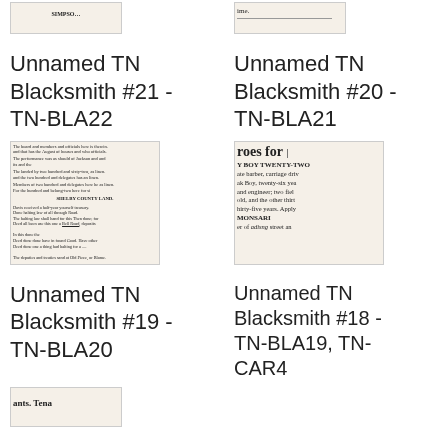[Figure (photo): Cropped newspaper clipping snippet top left]
[Figure (photo): Cropped newspaper clipping snippet top right with text 'ime.']
Unnamed TN Blacksmith #21 - TN-BLA22
Unnamed TN Blacksmith #20 - TN-BLA21
[Figure (photo): Newspaper clipping showing Shelby County land ad text]
[Figure (photo): Newspaper clipping showing 'roes for' and 'BOY TWENTY-TWO' text, carriage driver ad]
Unnamed TN Blacksmith #19 - TN-BLA20
Unnamed TN Blacksmith #18 - TN-BLA19, TN-CAR4
[Figure (photo): Partial newspaper clipping bottom left showing 'ants. Tena']